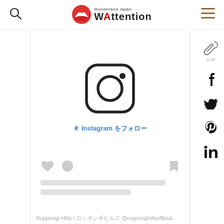Wonderland Japan WAttention
[Figure (screenshot): Instagram embed placeholder with Instagram logo icon and link text '＃ Instagram をフォロー' in blue, followed by like/comment/bookmark action bar icons, skeleton loading lines, and footer attribution text 'Roppongi Hills / ロッポンギヒルズ @ropponghillsofficial...']
Roppongi Hills / ロッポンギヒルズ @ropponghillsofficial...